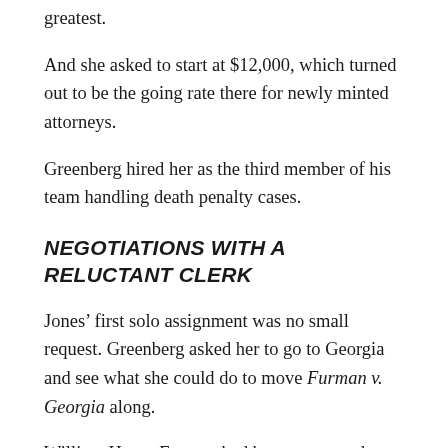greatest.
And she asked to start at $12,000, which turned out to be the going rate there for newly minted attorneys.
Greenberg hired her as the third member of his team handling death penalty cases.
NEGOTIATIONS WITH A RELUCTANT CLERK
Jones’ first solo assignment was no small request. Greenberg asked her to go to Georgia and see what she could do to move Furman v. Georgia along.
William Henry Furman had been sentenced to die by the state of Georgia. His gun had discharged while he was fleeing a home he attempted to burglarize, killing one of the residents. Attorneys contested the legality of the sentence. The U.S.